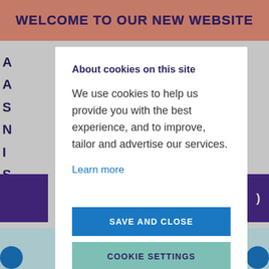WELCOME TO OUR NEW WEBSITE
About cookies on this site
We use cookies to help us provide you with the best experience, and to improve, tailor and advertise our services.
Learn more
SAVE AND CLOSE
COOKIE SETTINGS